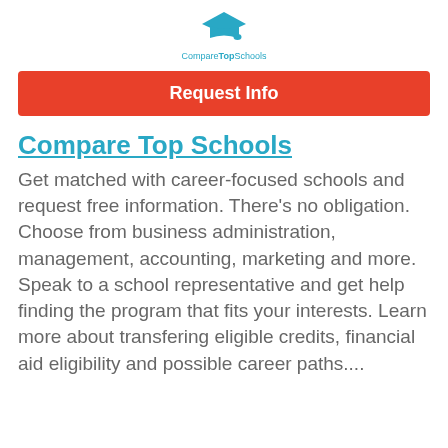[Figure (logo): CompareTopSchools logo: graduation cap icon above the text 'CompareTopSchools']
Request Info
Compare Top Schools
Get matched with career-focused schools and request free information. There's no obligation. Choose from business administration, management, accounting, marketing and more. Speak to a school representative and get help finding the program that fits your interests. Learn more about transfering eligible credits, financial aid eligibility and possible career paths....